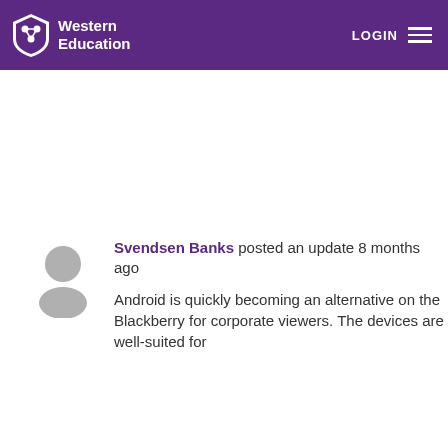Western Education — LOGIN [menu]
Svendsen Banks posted an update 8 months ago
Android is quickly becoming an alternative on the Blackberry for corporate viewers. The devices are well-suited for